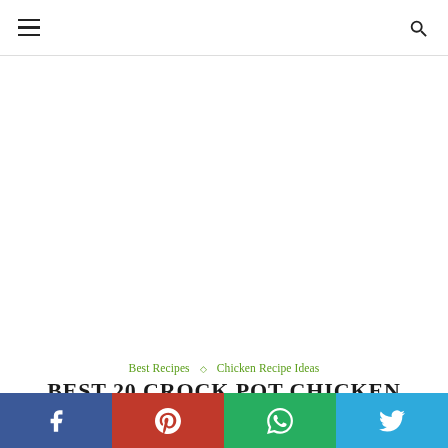☰  [menu]  [search]
[Figure (other): Blank white advertisement area]
Best Recipes ◇ Chicken Recipe Ideas
BEST 20 CROCK POT CHICKEN SPAGHETTI
written by Admin
October 19, 2021
[Figure (photo): Partial food photo at bottom of page]
Social share bar: Facebook, Pinterest, WhatsApp, Twitter